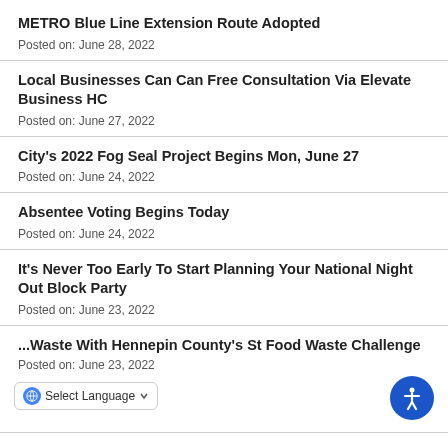METRO Blue Line Extension Route Adopted
Posted on: June 28, 2022
Local Businesses Can Can Free Consultation Via Elevate Business HC
Posted on: June 27, 2022
City's 2022 Fog Seal Project Begins Mon, June 27
Posted on: June 24, 2022
Absentee Voting Begins Today
Posted on: June 24, 2022
It's Never Too Early To Start Planning Your National Night Out Block Party
Posted on: June 23, 2022
...Waste With Hennepin County's St Food Waste Challenge
Posted on: June 23, 2022